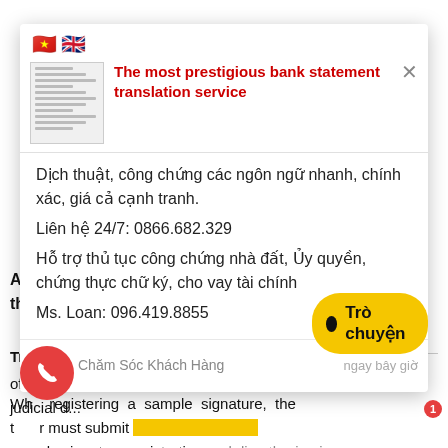[Figure (screenshot): Vietnamese and UK flag emojis]
The most prestigious bank statement translation service
Dịch thuật, công chứng các ngôn ngữ nhanh, chính xác, giá cả cạnh tranh.
Liên hệ 24/7: 0866.682.329
Hỗ trợ thủ tục công chứng nhà đất, Ủy quyền, chứng thực chữ ký, cho vay tài chính
Ms. Loan: 096.419.8855
Chăm Sóc Khách Hàng   ngay bây giờ
Article 2... the regis
Translat
office m... judicial d...
When registering a sample signature, the t r must submit sample signature registration and directly sign in